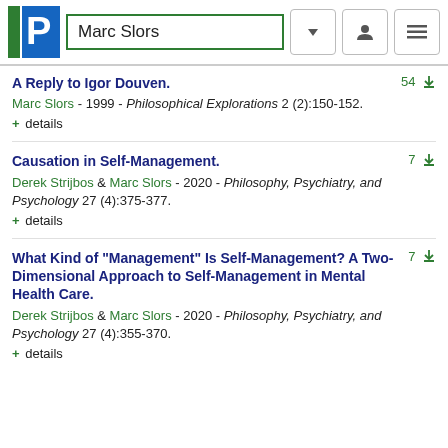Marc Slors
A Reply to Igor Douven.
Marc Slors - 1999 - Philosophical Explorations 2 (2):150-152.
+ details
Causation in Self-Management.
Derek Strijbos & Marc Slors - 2020 - Philosophy, Psychiatry, and Psychology 27 (4):375-377.
+ details
What Kind of "Management" Is Self-Management? A Two-Dimensional Approach to Self-Management in Mental Health Care.
Derek Strijbos & Marc Slors - 2020 - Philosophy, Psychiatry, and Psychology 27 (4):355-370.
+ details